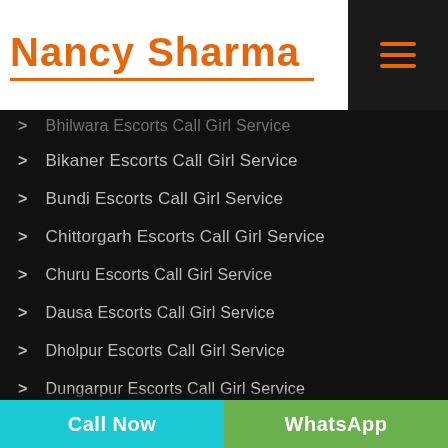[Figure (logo): Nancy Sharma logo in orange cursive script with orange underline, followed by a hamburger menu icon on black background]
Bhilwara Escorts Call Girl Service
Bikaner Escorts Call Girl Service
Bundi Escorts Call Girl Service
Chittorgarh Escorts Call Girl Service
Churu Escorts Call Girl Service
Dausa Escorts Call Girl Service
Dholpur Escorts Call Girl Service
Dungarpur Escorts Call Girl Service
Ganganagar Escorts Call Girl Service
Call Now   WhatsApp